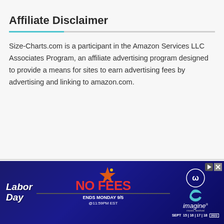Affiliate Disclaimer
Size-Charts.com is a participant in the Amazon Services LLC Associates Program, an affiliate advertising program designed to provide a means for sites to earn advertising fees by advertising and linking to amazon.com.
[Figure (illustration): Advertisement banner for Imagine Music Festival - Labor Day No Fees promotion, ends Monday 9/5 at 11:59PM EST, Sept 15|16|17|18 2022]